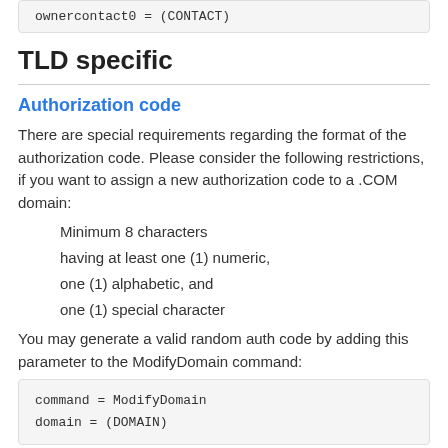ownercontact0 = (CONTACT)
TLD specific
Authorization code
There are special requirements regarding the format of the authorization code. Please consider the following restrictions, if you want to assign a new authorization code to a .COM domain:
Minimum 8 characters
having at least one (1) numeric,
one (1) alphabetic, and
one (1) special character
You may generate a valid random auth code by adding this parameter to the ModifyDomain command:
command = ModifyDomain
domain = (DOMAIN)
REQUIRED